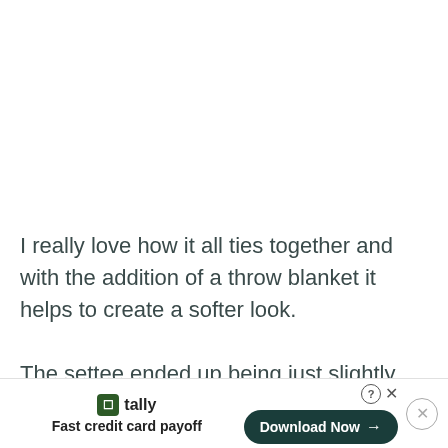I really love how it all ties together and with the addition of a throw blanket it helps to create a softer look.
The settee ended up being just slightly more gray toned than I had planned and the pattern on the pill... ton...
[Figure (screenshot): Advertisement banner at the bottom of the page for Tally app - Fast credit card payoff, with a Download Now button and close controls]